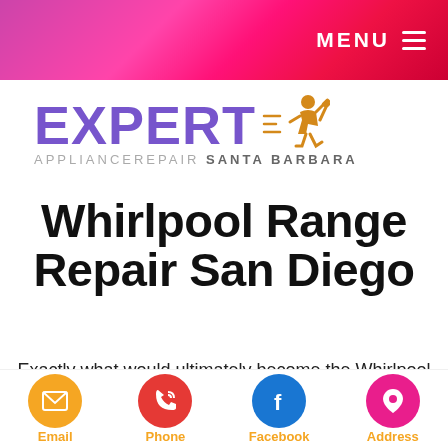MENU
[Figure (logo): Expert Appliance Repair Santa Barbara logo with purple text and golden running repairman icon]
Whirlpool Range Repair San Diego
Exactly what would ultimately become the Whirlpool oven had its starts in 1884
Email | Phone | Facebook | Address